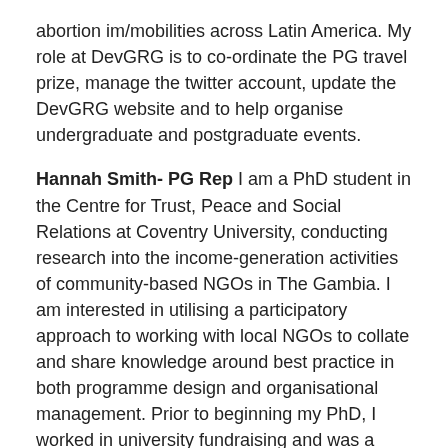abortion im/mobilities across Latin America. My role at DevGRG is to co-ordinate the PG travel prize, manage the twitter account, update the DevGRG website and to help organise undergraduate and postgraduate events.
Hannah Smith- PG Rep I am a PhD student in the Centre for Trust, Peace and Social Relations at Coventry University, conducting research into the income-generation activities of community-based NGOs in The Gambia. I am interested in utilising a participatory approach to working with local NGOs to collate and share knowledge around best practice in both programme design and organisational management. Prior to beginning my PhD, I worked in university fundraising and was a Trustee of UK-based international development charity, Village Aid.
Kavita Dattani- PG Rep Kavita is a PhD student at